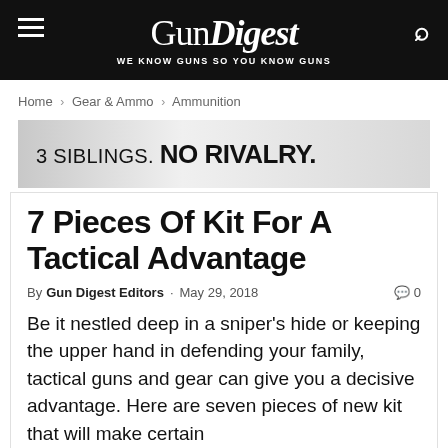GunDigest — WE KNOW GUNS SO YOU KNOW GUNS
Home › Gear & Ammo › Ammunition
[Figure (illustration): Advertisement banner with gradient grey background reading: 3 SIBLINGS. NO RIVALRY.]
7 Pieces Of Kit For A Tactical Advantage
By Gun Digest Editors · May 29, 2018  💬 0
Be it nestled deep in a sniper's hide or keeping the upper hand in defending your family, tactical guns and gear can give you a decisive advantage. Here are seven pieces of new kit that will make certain